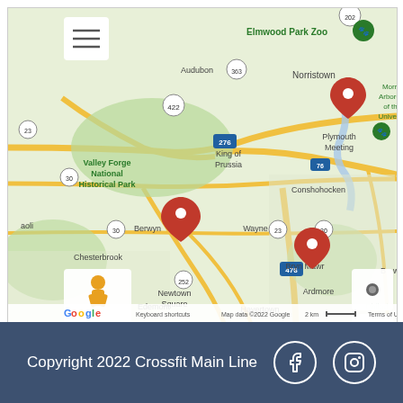[Figure (map): Google Maps screenshot showing the Philadelphia suburban area including locations: Chesterbrook, Plymouth Meeting, and Ardmore marked with red pins. Map shows areas including Valley Forge National Historical Park, Elmwood Park Zoo, Audubon, Norristown, King of Prussia, Berwyn, Wayne, Bryn Mawr, Ardmore, Newtown Square, Havertown, Conshohocken. Roads including 76, 276, 476, 30, 23, 252, 422, 363, 202 are visible. Map controls (zoom +/-) and street view icon visible. Google logo and copyright notice at bottom.]
Copyright 2022 Crossfit Main Line